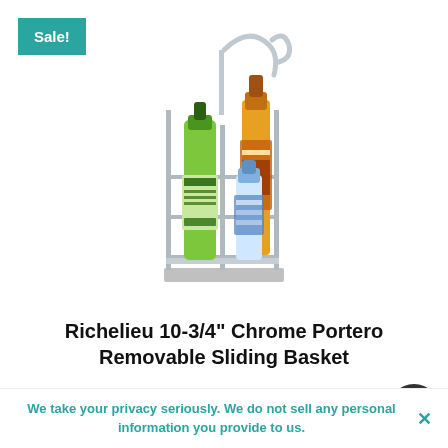[Figure (photo): Chrome wire sliding basket organizer with cleaning product bottles including green dish soap, yellow spray bottle, and blue/red liquid bottle]
Richelieu 10-3/4" Chrome Portero Removable Sliding Basket
$299.69 $284.17
We take your privacy seriously. We do not sell any personal information you provide to us.